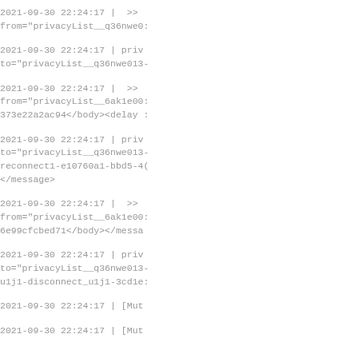2021-09-30 22:24:17 |  >>  from="privacyList__q36nwe0...
2021-09-30 22:24:17 | priv to="privacyList__q36nwe013-...
2021-09-30 22:24:17 |  >>  from="privacyList__6ak1e00... 373e22a2ac94</body><delay ...
2021-09-30 22:24:17 | priv to="privacyList__q36nwe013-... reconnect1-e10760a1-bbd5-4... </message>
2021-09-30 22:24:17 |  >>  from="privacyList__6ak1e00... 6e99cfcbed71</body></messa...
2021-09-30 22:24:17 | priv to="privacyList__q36nwe013-... u1j1-disconnect_u1j1-3cd1e...
2021-09-30 22:24:17 | [Mut...
2021-09-30 22:24:17 | [Mut...